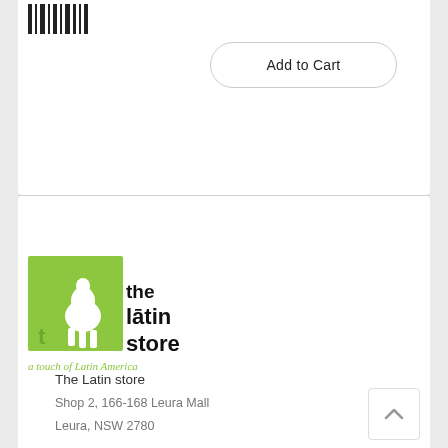[Figure (other): Barcode/music bars icon in black at top left of product card]
Add to Cart
[Figure (logo): The Latin Store logo: green square with white alpaca silhouette, bold black stylized text 'the latin store', green italic text 'a touch of Latin America']
The Latin store
Shop 2, 166-168 Leura Mall
Leura, NSW 2780